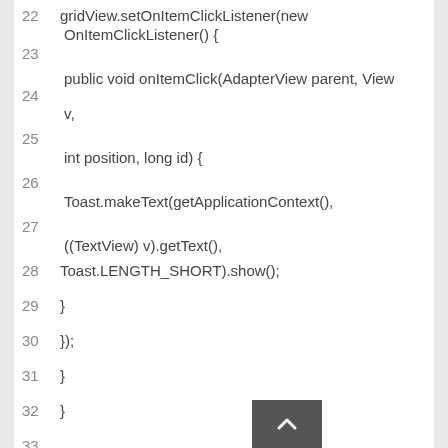22 gridView.setOnItemClickListener(new
   OnItemClickListener() {
23
24   public void onItemClick(AdapterView parent, View
     v,
25
     int position, long id) {
26
     Toast.makeText(getApplicationContext(),
27
     ((TextView) v).getText(),
28 Toast.LENGTH_SHORT).show();
29 }
30 });
31 }
32 }
33